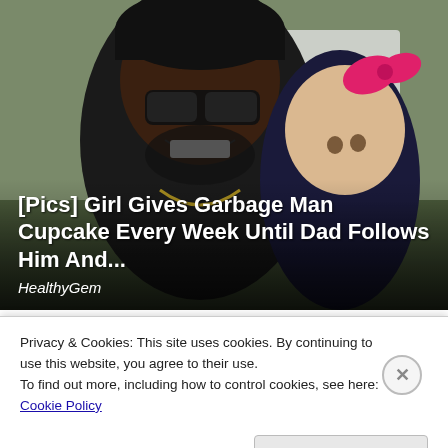[Figure (photo): A man wearing sunglasses and a black cap smiles alongside a young girl with a pink bow in her hair. Outdoor setting visible in background.]
[Pics] Girl Gives Garbage Man Cupcake Every Week Until Dad Follows Him And...
HealthyGem
[Figure (photo): Partial image showing dark blue headphones or similar product]
Almost Nobody Has Passed
Privacy & Cookies: This site uses cookies. By continuing to use this website, you agree to their use.
To find out more, including how to control cookies, see here: Cookie Policy
Close and accept